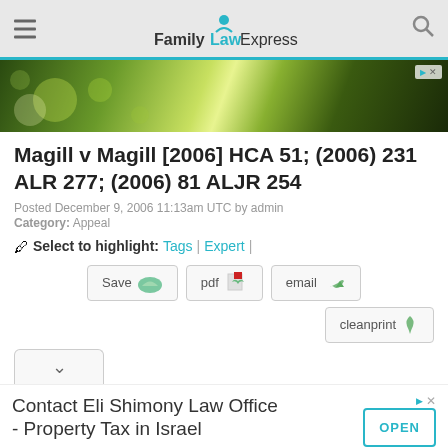FamilyLawExpress
[Figure (photo): Green bokeh nature banner image with advertisement badge]
Magill v Magill [2006] HCA 51; (2006) 231 ALR 277; (2006) 81 ALJR 254
Posted December 9, 2006 11:13am UTC by admin
Category: Appeal
Select to highlight: Tags | Expert |
Save | pdf | email | cleanprint
[Figure (infographic): Advertisement for Eli Shimony Law Office - Property Tax in Israel with OPEN button]